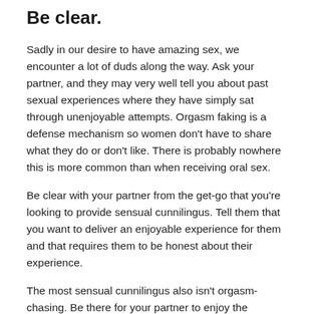Be clear.
Sadly in our desire to have amazing sex, we encounter a lot of duds along the way. Ask your partner, and they may very well tell you about past sexual experiences where they have simply sat through unenjoyable attempts. Orgasm faking is a defense mechanism so women don't have to share what they do or don't like. There is probably nowhere this is more common than when receiving oral sex.
Be clear with your partner from the get-go that you're looking to provide sensual cunnilingus. Tell them that you want to deliver an enjoyable experience for them and that requires them to be honest about their experience.
The most sensual cunnilingus also isn't orgasm-chasing. Be there for your partner to enjoy the entirety of the sensual foreplay, even if it doesn't end in orgasm. Sex isn't a linear act. Enjoy the twists, turns, and pivots that playing with your bodies can allow. And instead of listening to some tips from an article online, always listen to your partner first and